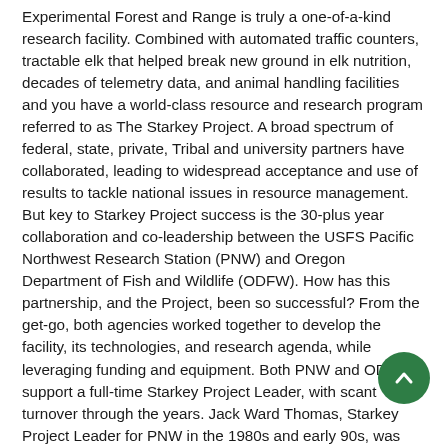Experimental Forest and Range is truly a one-of-a-kind research facility. Combined with automated traffic counters, tractable elk that helped break new ground in elk nutrition, decades of telemetry data, and animal handling facilities and you have a world-class resource and research program referred to as The Starkey Project. A broad spectrum of federal, state, private, Tribal and university partners have collaborated, leading to widespread acceptance and use of results to tackle national issues in resource management. But key to Starkey Project success is the 30-plus year collaboration and co-leadership between the USFS Pacific Northwest Research Station (PNW) and Oregon Department of Fish and Wildlife (ODFW). How has this partnership, and the Project, been so successful? From the get-go, both agencies worked together to develop the facility, its technologies, and research agenda, while leveraging funding and equipment. Both PNW and ODFW support a full-time Starkey Project Leader, with scant turnover through the years. Jack Ward Thomas, Starkey Project Leader for PNW in the 1980s and early 90s, was instrumental in getting the fencing and supporting technologies established, working closely with Donavin Leckenby, Project leader for ODFW. Project staff have always been co-located to ensure the work remains tightly integrated. This long collaboration has become one of the closest and most successful research partnerships that we know of between federal and state agencies. Research results have
[Figure (other): Green circular scroll-to-top button with upward chevron arrow icon]